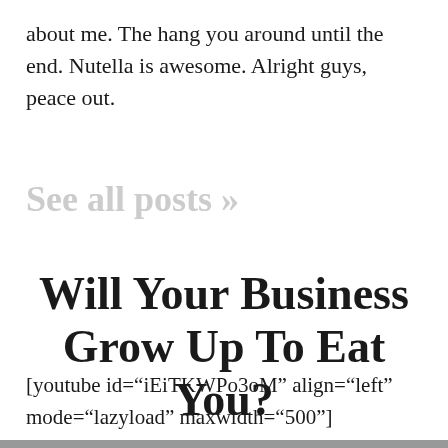about me. The hang you around until the end. Nutella is awesome. Alright guys, peace out.
See all posts »
Will Your Business Grow Up To Eat You?
[youtube id="iEiTKWPo3oM" align="left" mode="lazyload" maxwidth="500"]